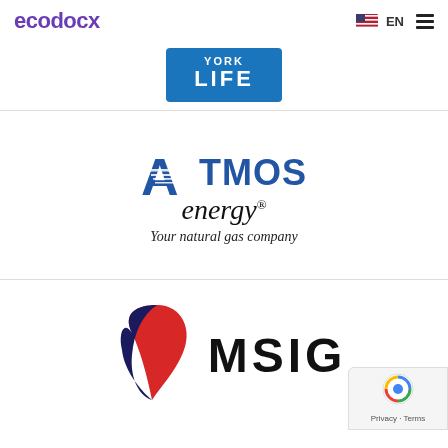ecodocx  EN ☰
[Figure (logo): Partial logo with text 'LIFE' on a blue background, partially cropped at top]
[Figure (logo): Atmos Energy logo: blue stylized 'ATMOS' text with horizontal lines through the A, 'energy' in italic serif below, registered trademark symbol, tagline 'Your natural gas company' in italic]
[Figure (logo): MSIG logo: red and dark blue abstract flame/shield shape on left, bold black 'MSIG' text on right]
[Figure (logo): reCAPTCHA privacy badge in bottom right corner with Privacy and Terms links]